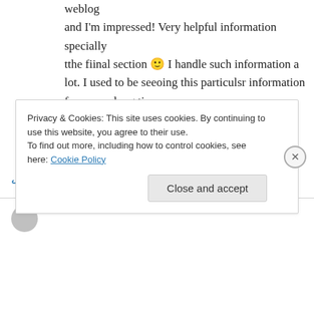weblog and I'm impressed! Very helpful information specially tthe fiinal section 🙂 I handle such information a lot. I used to be seeoing this particulsr information for a very long time. Thanks andd good luck.
★ Like
↪ Reply
Privacy & Cookies: This site uses cookies. By continuing to use this website, you agree to their use.
To find out more, including how to control cookies, see here: Cookie Policy
Close and accept